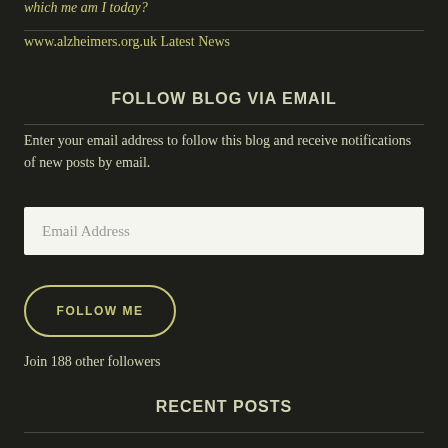which me am I today?
www.alzheimers.org.uk Latest News
FOLLOW BLOG VIA EMAIL
Enter your email address to follow this blog and receive notifications of new posts by email.
Email Address
FOLLOW ME
Join 188 other followers
RECENT POSTS